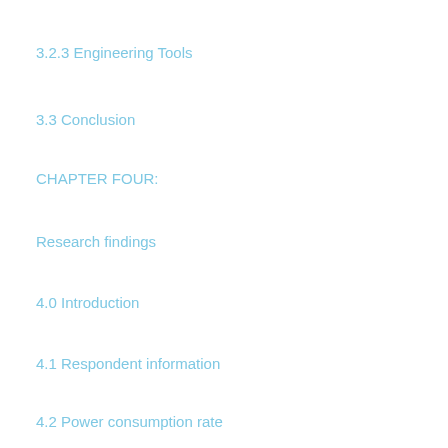3.2.3 Engineering Tools
3.3 Conclusion
CHAPTER FOUR:
Research findings
4.0 Introduction
4.1 Respondent information
4.2 Power consumption rate
CHAPTER 5